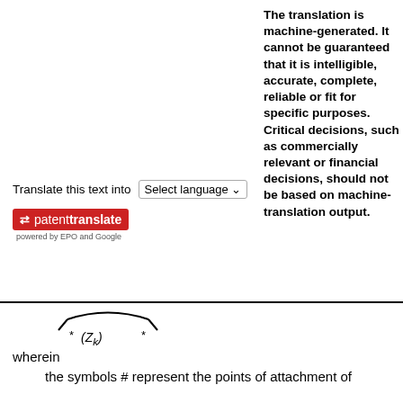The translation is machine-generated. It cannot be guaranteed that it is intelligible, accurate, complete, reliable or fit for specific purposes. Critical decisions, such as commercially relevant or financial decisions, should not be based on machine-translation output.
Translate this text into  Select language
[Figure (logo): Patent translate logo badge - red background with arrows icon and text 'patenttranslate', powered by EPO and Google]
[Figure (engineering-diagram): Partial trapezoid/vessel shape schematic diagram with two asterisks (*) below indicating attachment points]
wherein
the symbols # represent the points of attachment of